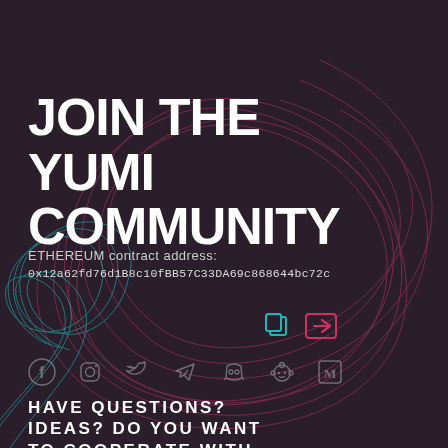JOIN THE YUMI COMMUNITY
ETHEREUM contract address:
0x12a62fd76d1B8c10fBB57C33DA69c868644bc72c
[Figure (illustration): Copy icon (teal) and share/login arrow icon (pink/red) buttons next to contract address]
[Figure (illustration): Row of social media icons: Facebook, Instagram, Twitter, Telegram, Discord, Reddit, Medium — in grey]
HAVE QUESTIONS? IDEAS? DO YOU WANT TO COOPERATE WITH US? WRITE TO US
[Figure (illustration): Decorative abstract swirl line art in pink/magenta and teal on dark background]